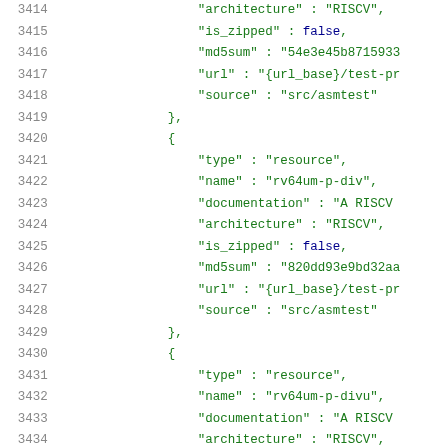Code listing lines 3414-3434 showing JSON resource objects with architecture RISCV fields including type, name, documentation, architecture, is_zipped, md5sum, url, source